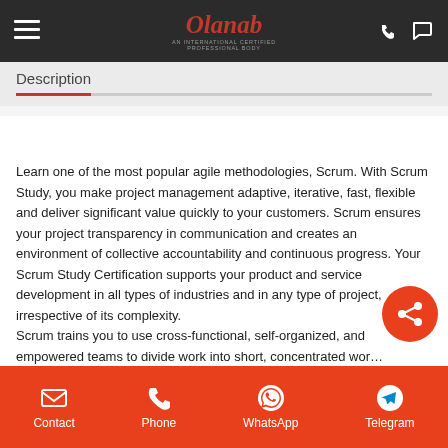Olanab
Description
About Scrum
Learn one of the most popular agile methodologies, Scrum. With Scrum Study, you make project management adaptive, iterative, fast, flexible and deliver significant value quickly to your customers. Scrum ensures your project transparency in communication and creates an environment of collective accountability and continuous progress. Your Scrum Study Certification supports your product and service development in all types of industries and in any type of project, irrespective of its complexity. Scrum trains you to use cross-functional, self-organized, and empowered teams to divide work into short, concentrated wor…
Contact | Phone | WhatsApp | Telegram